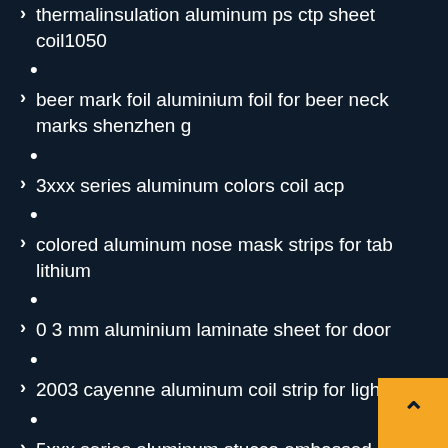thermalinsulation aluminum ps ctp sheet coil1050
•
beer mark foil aluminium foil for beer neck marks shenzhen g
•
3xxx series aluminum colors coil acp
•
colored aluminum nose mask strips for tab lithium
•
0 3 mm aluminium laminate sheet for door
•
2003 cayenne aluminum coil strip for light box
•
5xxx series aluminum stucco embossed coil strip
•
Alloy 6003 6001 Aluminum Circle Sheet Disc Disk